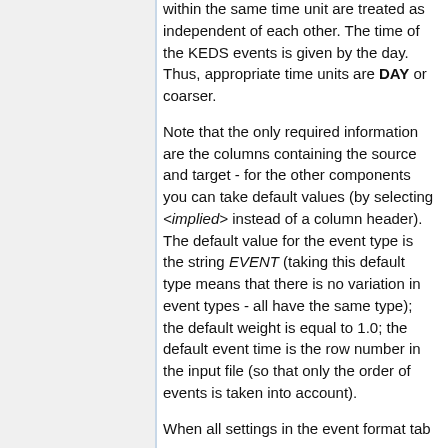within the same time unit are treated as independent of each other. The time of the KEDS events is given by the day. Thus, appropriate time units are DAY or coarser.
Note that the only required information are the columns containing the source and target - for the other components you can take default values (by selecting <implied> instead of a column header). The default value for the event type is the string EVENT (taking this default type means that there is no variation in event types - all have the same type); the default weight is equal to 1.0; the default event time is the row number in the input file (so that only the order of events is taken into account).
When all settings in the event format tab